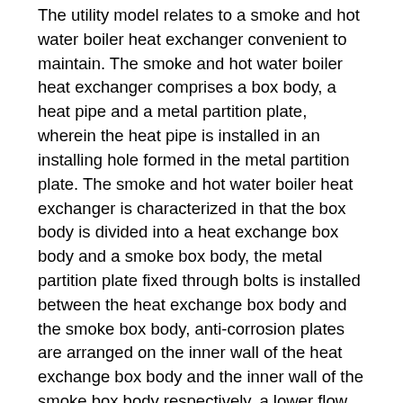The utility model relates to a smoke and hot water boiler heat exchanger convenient to maintain. The smoke and hot water boiler heat exchanger comprises a box body, a heat pipe and a metal partition plate, wherein the heat pipe is installed in an installing hole formed in the metal partition plate. The smoke and hot water boiler heat exchanger is characterized in that the box body is divided into a heat exchange box body and a smoke box body, the metal partition plate fixed through bolts is installed between the heat exchange box body and the smoke box body, anti-corrosion plates are arranged on the inner wall of the heat exchange box body and the inner wall of the smoke box body respectively, a lower flow guide plate is arranged above the bottom face of the smoke box body, an upper flow guide plate is arranged on the lower portion of the metal partition plate, and a heat pipe evaporation section is arranged between the lower flow guide plate and the upper flow guide plate. The smoke and hot water boiler heat exchanger is scientific and reasonable in structural design, good in anti-corrosion performance and convenient to maintain, smoke waste heat is fully utilized, heat efficiency is improved, and the service life of the smoke and hot water boiler heat exchanger is prolonged. The